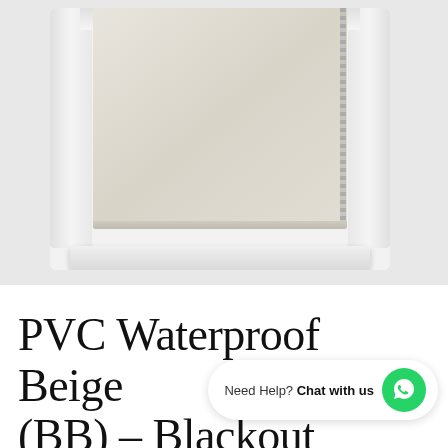[Figure (photo): A beige/cream roller blind (PVC Waterproof Blackout) installed inside a white window frame, partially rolled down with a bead chain on the right side. The blind fabric is a light off-white/beige color. The window frame is white with a prominent sill at the bottom.]
PVC Waterproof Beige (BB) - Blackout